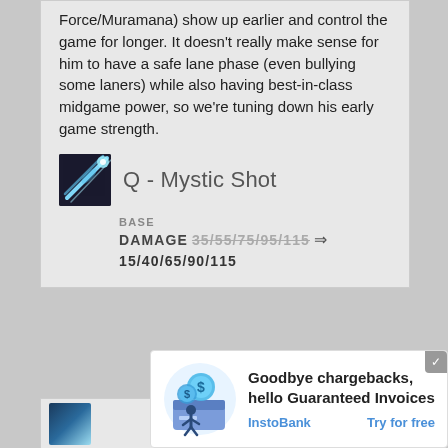Force/Muramana) show up earlier and control the game for longer. It doesn't really make sense for him to have a safe lane phase (even bullying some laners) while also having best-in-class midgame power, so we're tuning down his early game strength.
Q - Mystic Shot
BASE
DAMAGE 35/55/75/95/115 ⇒ 15/40/65/90/115
[Figure (screenshot): Partially visible second card below main card]
[Figure (illustration): InstoBank advertisement: Goodbye chargebacks, hello Guaranteed Invoices. InstoBank - Try for free]